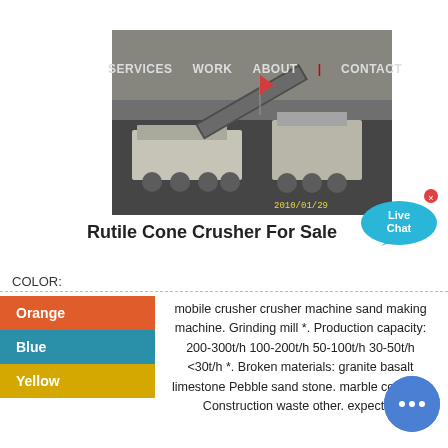[Figure (photo): Aerial view of a rutile cone crusher / mobile crushing machine on a mining site, photographed 2010/01/29]
SERVICES   WORK   ABOUT | CONTACT
Rutile Cone Crusher For Sale
COLOR:
Orange
Blue
Yellow
mobile crusher crusher machine sand making machine. Grinding mill *. Production capacity: 200-300t/h 100-200t/h 50-100t/h 30-50t/h <30t/h *. Broken materials: granite basalt limestone Pebble sand stone. marble concrete Construction waste other. expected